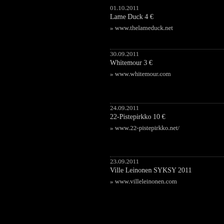01.10.2011
Lame Duck 4 €
» www.thelameduck.net
30.09.2011
Whitemour 3 €
» www.whitemour.com
24.09.2011
22-Pistepirkko 10 €
» www.22-pistepirkko.net/
23.09.2011
Ville Leinonen SYKSY 2011
» www.villeleinonen.com